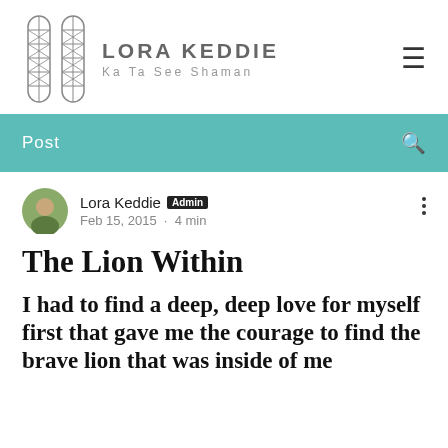[Figure (logo): Two feather/leaf geometric shapes with cross-hatch patterns forming a logo mark, followed by 'LORA KEDDIE Ka Ta See Shaman' brand text and hamburger menu icon]
Post
Lora Keddie Admin
Feb 15, 2015 · 4 min
The Lion Within
I had to find a deep, deep love for myself first that gave me the courage to find the brave lion that was inside of me